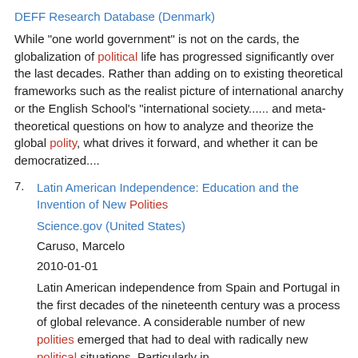DEFF Research Database (Denmark)
While "one world government" is not on the cards, the globalization of political life has progressed significantly over the last decades. Rather than adding on to existing theoretical frameworks such as the realist picture of international anarchy or the English School's "international society...... and meta-theoretical questions on how to analyze and theorize the global polity, what drives it forward, and whether it can be democratized....
7. Latin American Independence: Education and the Invention of New Polities
Science.gov (United States)
Caruso, Marcelo
2010-01-01
Latin American independence from Spain and Portugal in the first decades of the nineteenth century was a process of global relevance. A considerable number of new polities emerged that had to deal with radically new political situations. Particularly in